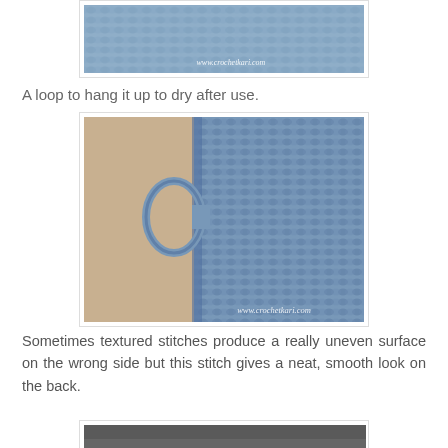[Figure (photo): Close-up of blue crochet texture stitch pattern with watermark www.crochetkari.com]
A loop to hang it up to dry after use.
[Figure (photo): Blue crochet dishcloth with hanging loop in corner, showing textured stitch pattern, watermark www.crochetkari.com]
Sometimes textured stitches produce a really uneven surface on the wrong side but this stitch gives a neat, smooth look on the back.
[Figure (photo): Partial view of crochet item showing smooth back side]